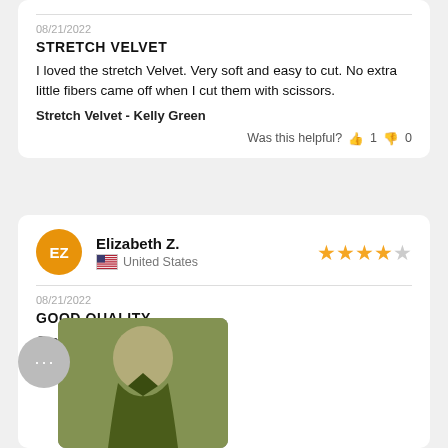08/21/2022
STRETCH VELVET
I loved the stretch Velvet. Very soft and easy to cut. No extra little fibers came off when I cut them with scissors.
Stretch Velvet - Kelly Green
Was this helpful? 👍 1 👎 0
Elizabeth Z.
United States
08/21/2022
GOOD QUALITY
Great quality, not thin at all
[Figure (photo): Photo of a person wearing an olive/dark green velvet halter-style garment]